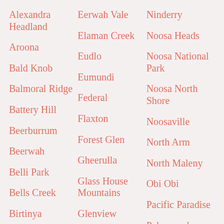Alexandra Headland
Aroona
Bald Knob
Balmoral Ridge
Battery Hill
Beerburrum
Beerwah
Belli Park
Bells Creek
Birtinya
Bli Bli
Eerwah Vale
Elaman Creek
Eudlo
Eumundi
Federal
Flaxton
Forest Glen
Gheerulla
Glass House Mountains
Glenview
Golden Beach
Ninderry
Noosa Heads
Noosa National Park
Noosa North Shore
Noosaville
North Arm
North Maleny
Obi Obi
Pacific Paradise
Palmwoods